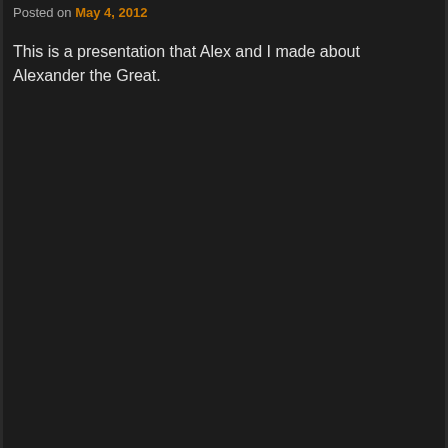Posted on May 4, 2012
This is a presentation that Alex and I made about Alexander the Great.